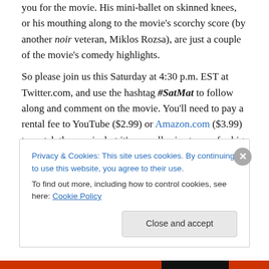you for the movie. His mini-ballet on skinned knees, or his mouthing along to the movie's scorchy score (by another noir veteran, Miklos Rozsa), are just a couple of the movie's comedy highlights.
So please join us this Saturday at 4:30 p.m. EST at Twitter.com, and use the hashtag #SatMat to follow along and comment on the movie. You'll need to pay a rental fee to YouTube ($2.99) or Amazon.com ($3.99) to watch the movie, but it's a small price to pay for big laughs, so cough up the dough, ya mug!
Privacy & Cookies: This site uses cookies. By continuing to use this website, you agree to their use. To find out more, including how to control cookies, see here: Cookie Policy